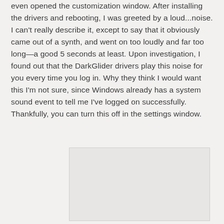even opened the customization window. After installing the drivers and rebooting, I was greeted by a loud...noise. I can't really describe it, except to say that it obviously came out of a synth, and went on too loudly and far too long—a good 5 seconds at least. Upon investigation, I found out that the DarkGlider drivers play this noise for you every time you log in. Why they think I would want this I'm not sure, since Windows already has a system sound event to tell me I've logged on successfully. Thankfully, you can turn this off in the settings window.
[Figure (other): A light gray rectangular image placeholder region]